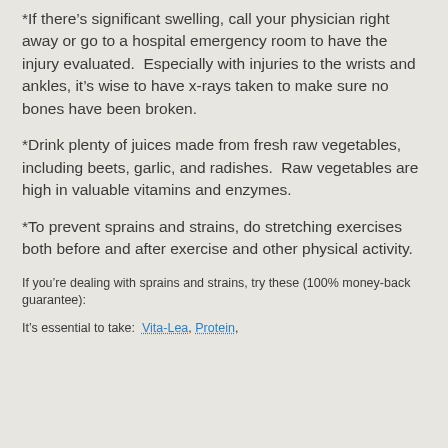*If there’s significant swelling, call your physician right away or go to a hospital emergency room to have the injury evaluated.  Especially with injuries to the wrists and ankles, it’s wise to have x-rays taken to make sure no bones have been broken.
*Drink plenty of juices made from fresh raw vegetables, including beets, garlic, and radishes.  Raw vegetables are high in valuable vitamins and enzymes.
*To prevent sprains and strains, do stretching exercises both before and after exercise and other physical activity.
If you’re dealing with sprains and strains, try these (100% money-back guarantee):
It’s essential to take:  Vita-Lea, Protein,